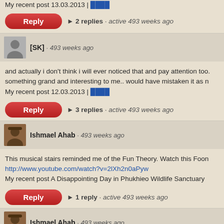My recent post 13.03.2013 | ████
► 2 replies · active 493 weeks ago
[SK] · 493 weeks ago
and actually i don't think i will ever noticed that and pay attention too. something grand and interesting to me.. would have mistaken it as n My recent post 12.03.2013 | ████
► 3 replies · active 493 weeks ago
Ishmael Ahab · 493 weeks ago
This musical stairs reminded me of the Fun Theory. Watch this Foon http://www.youtube.com/watch?v=2lXh2n0aPyw My recent post A Disappointing Day in Phukhieo Wildlife Sanctuary
► 1 reply · active 493 weeks ago
Ishmael Ahab · 493 weeks ago
I want to try walking up and down of these stairs. I want to hear the m My recent post A Disappointing Day in Phukhieo Wildlife Sanctuary